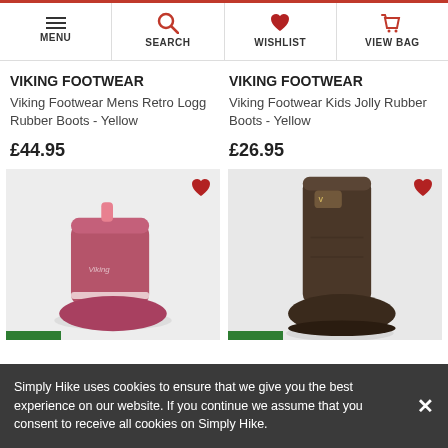MENU | SEARCH | WISHLIST | VIEW BAG
VIKING FOOTWEAR
Viking Footwear Mens Retro Logg Rubber Boots - Yellow
£44.95
VIKING FOOTWEAR
Viking Footwear Kids Jolly Rubber Boots - Yellow
£26.95
[Figure (photo): Pink Viking rubber boot (short) on grey background with red heart wishlist icon]
[Figure (photo): Dark brown tall Viking rubber boot on grey background with red heart wishlist icon]
Simply Hike uses cookies to ensure that we give you the best experience on our website. If you continue we assume that you consent to receive all cookies on Simply Hike.